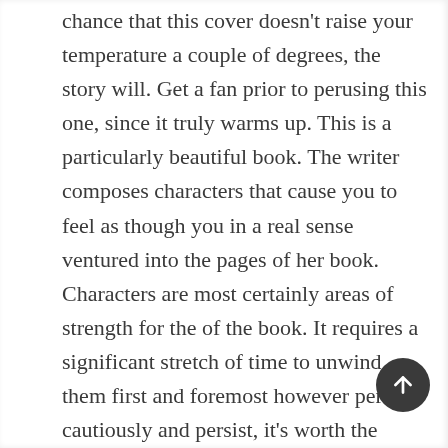chance that this cover doesn't raise your temperature a couple of degrees, the story will. Get a fan prior to perusing this one, since it truly warms up. This is a particularly beautiful book. The writer composes characters that cause you to feel as though you in a real sense ventured into the pages of her book. Characters are most certainly areas of strength for the of the book. It requires a significant stretch of time to unwind them first and foremost however perused cautiously and persist, it's worth the effort. A ton of it is unsurprising yet it doesn't diminish the story by any means, since it's composed with humor, engaging circumstances and fascinating characters. It is fiction designed for ladies, yet the message is one we as a whole should be helped to remember in our period of snap decisions and prepared judgments don't pass